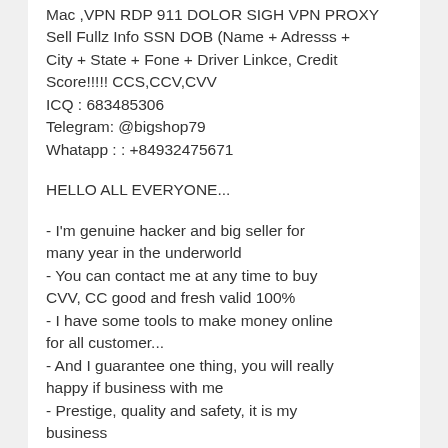Mac ,VPN RDP 911 DOLOR SIGH VPN PROXY
Sell Fullz Info SSN DOB (Name + Adresss + City + State + Fone + Driver Linkce, Credit Score!!!!! CCS,CCV,CVV
ICQ : 683485306
Telegram: @bigshop79
Whatapp : : +84932475671
HELLO ALL EVERYONE...
- I'm genuine hacker and big seller for many year in the underworld
- You can contact me at any time to buy CVV, CC good and fresh valid 100%
- I have some tools to make money online for all customer...
- And I guarantee one thing, you will really happy if business with me
- Prestige, quality and safety, it is my business